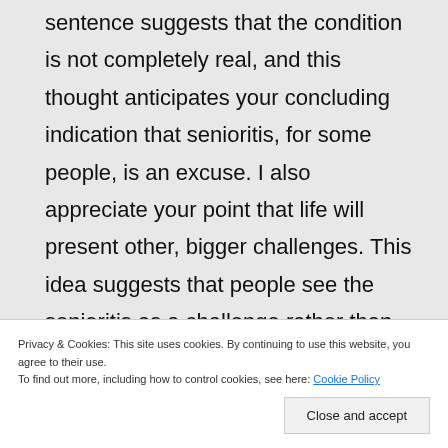sentence suggests that the condition is not completely real, and this thought anticipates your concluding indication that senioritis, for some people, is an excuse. I also appreciate your point that life will present other, bigger challenges. This idea suggests that people see the senioritis as a challenge rather than an inevitable, insoluble problem. Granted, those who use the term as an excuse may not see it as a problem to be solved.
Privacy & Cookies: This site uses cookies. By continuing to use this website, you agree to their use.
To find out more, including how to control cookies, see here: Cookie Policy